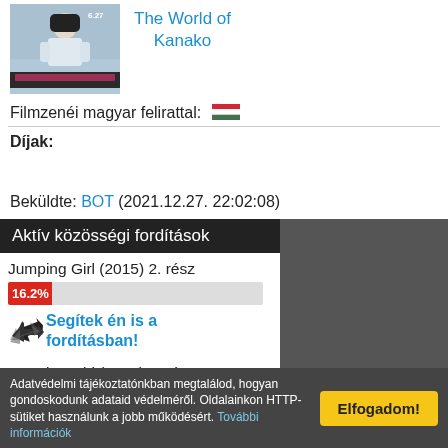[Figure (photo): Movie poster thumbnail for 'The World of Kanako' with date badge '6.27']
The World of Kanako
Filmzenéi magyar felirattal: 🇭🇺
Díjak:
Beküldte: BOT (2021.12.27. 22:02:08)
Aktív közösségi fordítások
Jumping Girl (2015) 2. rész
16.2%
Segítek én is a fordításban!
Jumping Girl (2015) 3. rész
13.1
Adatvédelmi tájékoztatónkban megtalálod, hogyan gondoskodunk adataid védelméről. Oldalainkon HTTP-sütiket használunk a jobb működésért. További információk
Elfogadom!